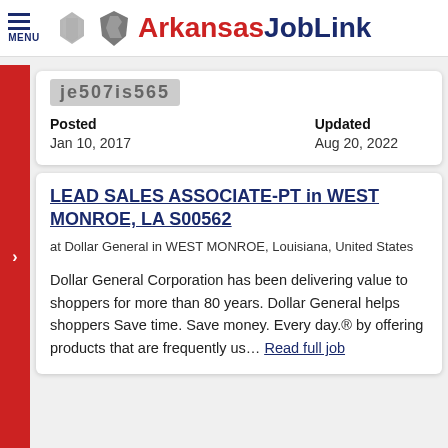MENU | Arkansas JobLink
je507is565
Posted
Jan 10, 2017
Updated
Aug 20, 2022
LEAD SALES ASSOCIATE-PT in WEST MONROE, LA S00562
at Dollar General in WEST MONROE, Louisiana, United States
Dollar General Corporation has been delivering value to shoppers for more than 80 years. Dollar General helps shoppers Save time. Save money. Every day.® by offering products that are frequently us... Read full job